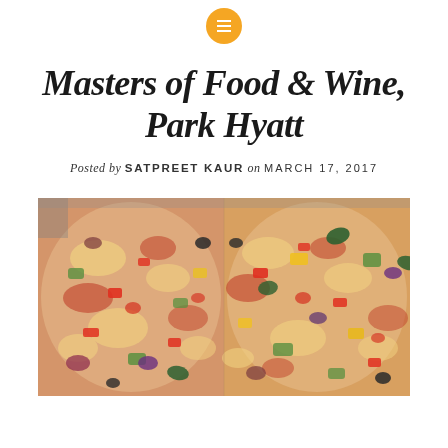menu icon
Masters of Food & Wine, Park Hyatt
Posted by SATPREET KAUR on MARCH 17, 2017
[Figure (photo): Close-up photo of a vegetable pizza with colorful toppings including red peppers, yellow peppers, zucchini, olives, tomatoes, and cheese on a white base, shown as two adjacent pizza halves]